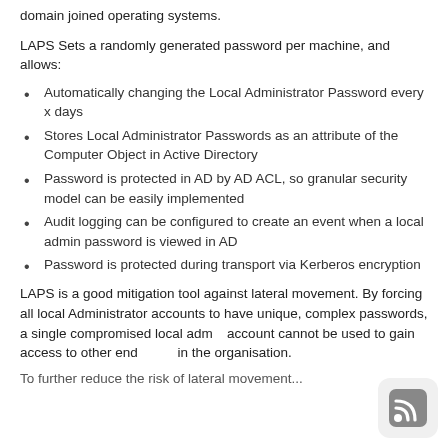domain joined operating systems.
LAPS Sets a randomly generated password per machine, and allows:
Automatically changing the Local Administrator Password every x days
Stores Local Administrator Passwords as an attribute of the Computer Object in Active Directory
Password is protected in AD by AD ACL, so granular security model can be easily implemented
Audit logging can be configured to create an event when a local admin password is viewed in AD
Password is protected during transport via Kerberos encryption
LAPS is a good mitigation tool against lateral movement. By forcing all local Administrator accounts to have unique, complex passwords, a single compromised local admin account cannot be used to gain access to other endpoints in the organisation.
To further reduce the risk of lateral movement...